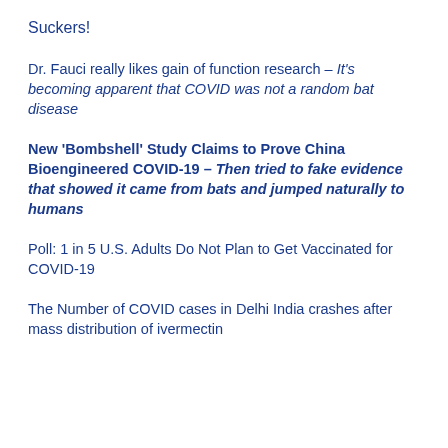Suckers!
Dr. Fauci really likes gain of function research – It's becoming apparent that COVID was not a random bat disease
New 'Bombshell' Study Claims to Prove China Bioengineered COVID-19 – Then tried to fake evidence that showed it came from bats and jumped naturally to humans
Poll: 1 in 5 U.S. Adults Do Not Plan to Get Vaccinated for COVID-19
The Number of COVID cases in Delhi India crashes after mass distribution of ivermectin